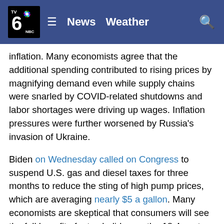TV 6 NBC | News  Weather
inflation. Many economists agree that the additional spending contributed to rising prices by magnifying demand even while supply chains were snarled by COVID-related shutdowns and labor shortages were driving up wages. Inflation pressures were further worsened by Russia’s invasion of Ukraine.
Biden on Wednesday called on Congress to suspend U.S. gas and diesel taxes for three months to reduce the sting of high pump prices, which are averaging nearly $5 a gallon. Many economists are skeptical that consumers will see the full benefit of a tax holiday on the 18.4 cents-a-gallon gas tax.
The public’s anxiety about inflation has weakened Biden’s approval ratings and raised the likelihood of Democratic losses in November. While taking some steps to try to